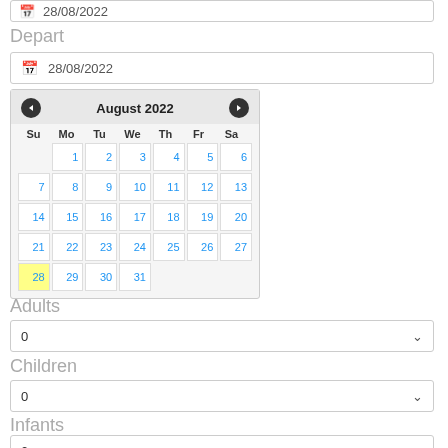28/08/2022
Depart
28/08/2022
[Figure (other): August 2022 calendar widget with dates 1-31, date 28 highlighted in yellow]
Adults
0
Children
0
Infants
0